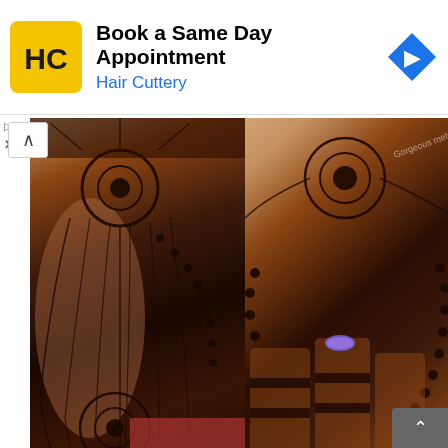[Figure (infographic): Advertisement banner for Hair Cuttery: 'Book a Same Day Appointment' with HC logo (yellow/black) and blue navigation arrow icon]
[Figure (photo): Two side-by-side photos of intricate peacock-feather mehendi (henna) designs on hands, showing detailed dark brown patterns with peacock feathers, circular motifs, and beaded designs]
We have seen a while peacock dancing in mehendi designs but something like this is extremely alluring. Entire Mehendi design is centred around peacock feathers. The feathers ate so delicately and finely designed that you can understand the skills of the curator. The designer has paid minute attention to details which makes the design even prettier. To top it all you have dome...